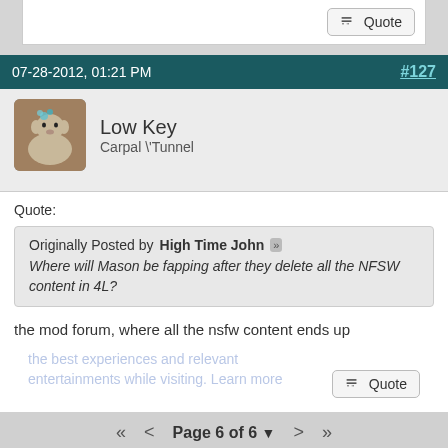Quote (button)
07-28-2012, 01:21 PM  #127
Low Key
Carpal \' Tunnel
Quote:
Originally Posted by High Time John
Where will Mason be fapping after they delete all the NFSW content in 4L?
the mod forum, where all the nsfw content ends up
Quote (button)
Page 6 of 6
Post Reply  Subscribe  ...